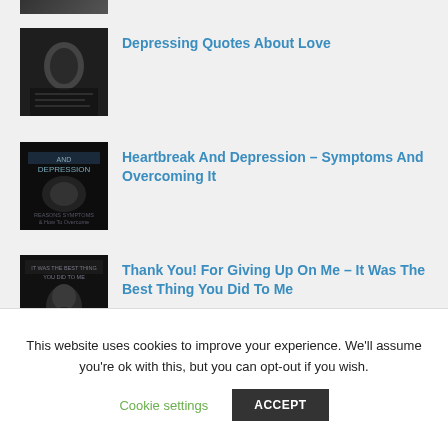[Figure (photo): Partial top of a dark thumbnail image, cropped at top of page]
Depressing Quotes About Love
Heartbreak And Depression – Symptoms And Overcoming It
Thank You! For Giving Up On Me – It Was The Best Thing You Did To Me
This website uses cookies to improve your experience. We'll assume you're ok with this, but you can opt-out if you wish.
Cookie settings
ACCEPT